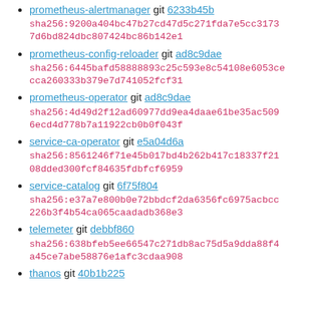prometheus-alertmanager git 6233b45b sha256:9200a404bc47b27cd47d5c271fda7e5cc31737d6bd824dbc807424bc86b142e1
prometheus-config-reloader git ad8c9dae sha256:6445bafd58888893c25c593e8c54108e6053cecca260333b379e7d741052fcf31
prometheus-operator git ad8c9dae sha256:4d49d2f12ad60977dd9ea4daae61be35ac5096ecd4d778b7a11922cb0b0f043f
service-ca-operator git e5a04d6a sha256:8561246f71e45b017bd4b262b417c18337f2108dded300fcf84635fdbfcf6959
service-catalog git 6f75f804 sha256:e37a7e800b0e72bbdcf2da6356fc6975acbcc226b3f4b54ca065caadadb368e3
telemeter git debbf860 sha256:638bfeb5ee66547c271db8ac75d5a9dda88f4a45ce7abe58876e1afc3cdaa908
thanos git 40b1b225